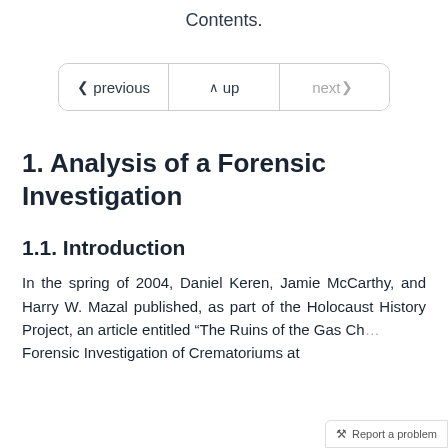Contents.
[Figure (other): Navigation bar with three buttons: previous, up, next]
1. Analysis of a Forensic Investigation
1.1. Introduction
In the spring of 2004, Daniel Keren, Jamie McCarthy, and Harry W. Mazal published, as part of the Holocaust History Project, an article entitled “The Ruins of the Gas Ch... A Forensic Investigation of Crematoriums at